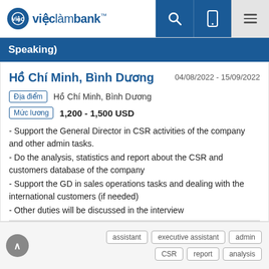việclàmbank™
Speaking)
Hồ Chí Minh, Bình Dương
04/08/2022 - 15/09/2022
Địa điểm   Hồ Chí Minh, Bình Dương
Mức lương   1,200 - 1,500 USD
- Support the General Director in CSR activities of the company and other admin tasks.
- Do the analysis, statistics and report about the CSR and customers database of the company
- Support the GD in sales operations tasks and dealing with the international customers (if needed)
- Other duties will be discussed in the interview
assistant   executive assistant   admin   CSR   report   analysis